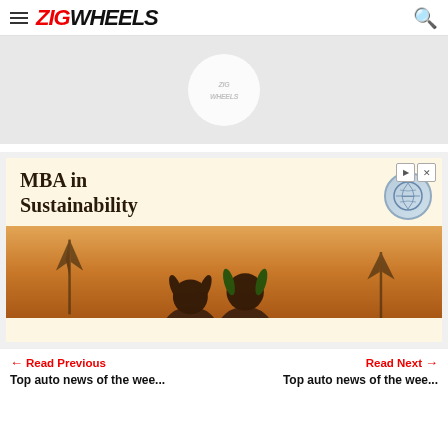ZIGWHEELS
[Figure (screenshot): Gray banner area with ZigWheels circular logo watermark in the center]
[Figure (screenshot): Advertisement banner for MBA in Sustainability with two children looking at wind turbines; shows play and close control buttons in top right]
← Read Previous
Read Next →
Top auto news of the wee...
Top auto news of the wee...